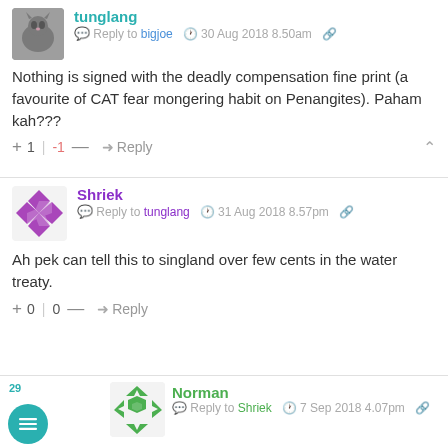[Figure (photo): Avatar image of a cat (tunglang user)]
tunglang
Reply to bigjoe  30 Aug 2018 8.50am
Nothing is signed with the deadly compensation fine print (a favourite of CAT fear mongering habit on Penangites). Paham kah???
+ 1 | -1 — → Reply
[Figure (illustration): Avatar image of Shriek user - purple geometric pattern]
Shriek
Reply to tunglang  31 Aug 2018 8.57pm
Ah pek can tell this to singland over few cents in the water treaty.
+ 0 | 0 — → Reply
[Figure (illustration): Avatar image of Norman user - green geometric pattern]
Norman
Reply to Shriek  7 Sep 2018 4.07pm
Singland claimed Pulah land $015 million...